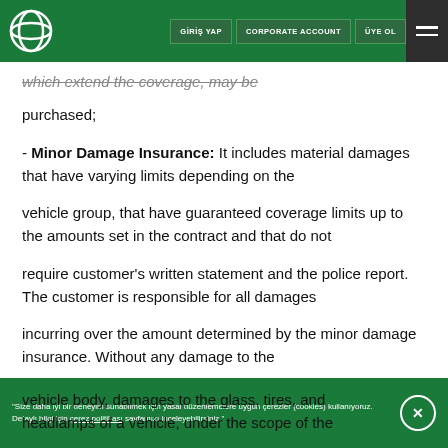GİRİŞ YAP | CORPORATE ACCOUNT | ÜYE OL
which extend the coverage, may be purchased;
- Minor Damage Insurance: It includes material damages that have varying limits depending on the vehicle group, that have guaranteed coverage limits up to the amounts set in the contract and that do not require customer's written statement and the police report. The customer is responsible for all damages incurring over the amount determined by the minor damage insurance. Without any damage to the vehicle body, damages to the glass, tires, and headlamps of a vehicle, under the scope of the
"Size daha iyi bir deneyim sunabilmek için yasal düzenlemelere uygun çerezler (cookies) kullanıyoruz. Detaylı bilgi için çerez politikası sayfamızı inceleyebilirsiniz."